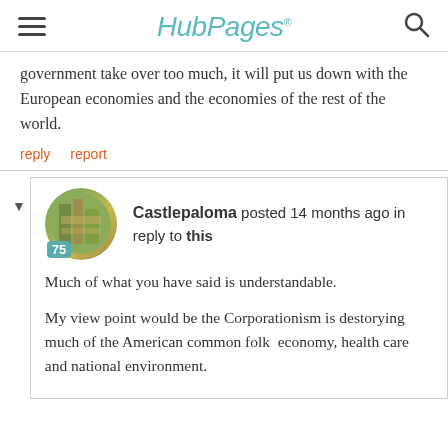HubPages
government take over too much, it will put us down with the European economies and the economies of the rest of the world.
reply   report
Castlepaloma posted 14 months ago in reply to this
Much of what you have said is understandable.
My view point would be the Corporationism is destorying much of the American common folk  economy, health care and national environment.